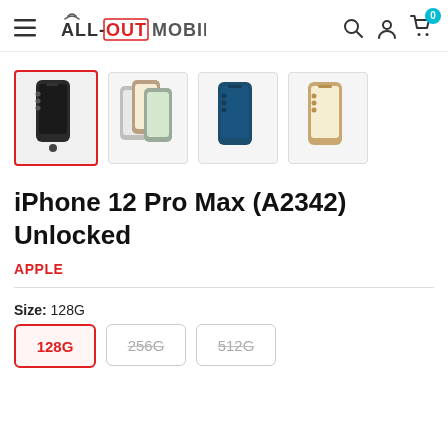All-Out Mobile — navigation header with logo, search, account, cart (0)
[Figure (photo): Four product thumbnail images of iPhone 12 Pro Max in different colors: graphite/black (selected, red border), silver/gold multi-pack, pacific blue, and gold. First thumbnail has red selection border.]
iPhone 12 Pro Max (A2342) Unlocked
APPLE
Size: 128G
128G  256G  512G